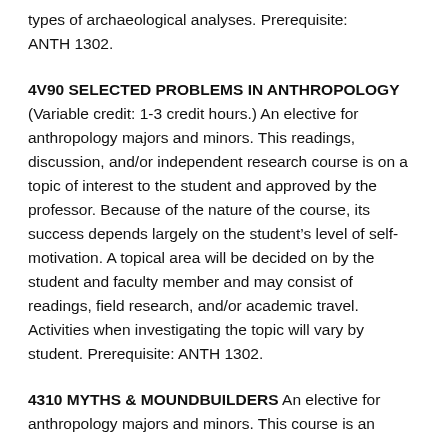types of archaeological analyses. Prerequisite: ANTH 1302.
4V90 SELECTED PROBLEMS IN ANTHROPOLOGY
(Variable credit: 1-3 credit hours.) An elective for anthropology majors and minors. This readings, discussion, and/or independent research course is on a topic of interest to the student and approved by the professor. Because of the nature of the course, its success depends largely on the student's level of self-motivation. A topical area will be decided on by the student and faculty member and may consist of readings, field research, and/or academic travel. Activities when investigating the topic will vary by student. Prerequisite: ANTH 1302.
4310 MYTHS & MOUNDBUILDERS An elective for anthropology majors and minors. This course is an